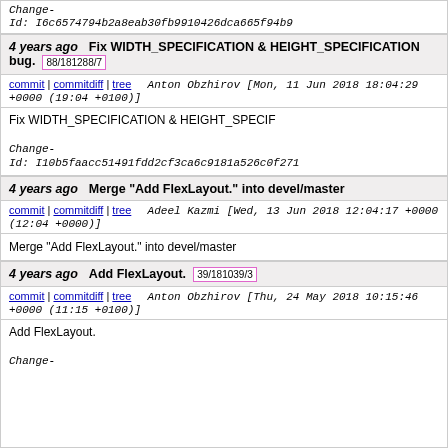Change-
Id: I6c6574794b2a8eab30fb9910426dca665f94b9
4 years ago   Fix WIDTH_SPECIFICATION & HEIGHT_SPECIFICATION bug.  88/181288/7
commit | commitdiff | tree   Anton Obzhirov [Mon, 11 Jun 2018 18:04:29 +0000 (19:04 +0100)]
Fix WIDTH_SPECIFICATION & HEIGHT_SPECI...

Change-
Id: I10b5faacc51491fdd2cf3ca6c9181a526c0f271...
4 years ago   Merge "Add FlexLayout." into devel/master
commit | commitdiff | tree   Adeel Kazmi [Wed, 13 Jun 2018 12:04:17 +0000 (12:04 +0000)]
Merge "Add FlexLayout." into devel/master
4 years ago   Add FlexLayout.  39/181039/3
commit | commitdiff | tree   Anton Obzhirov [Thu, 24 May 2018 10:15:46 +0000 (11:15 +0100)]
Add FlexLayout.

Change-